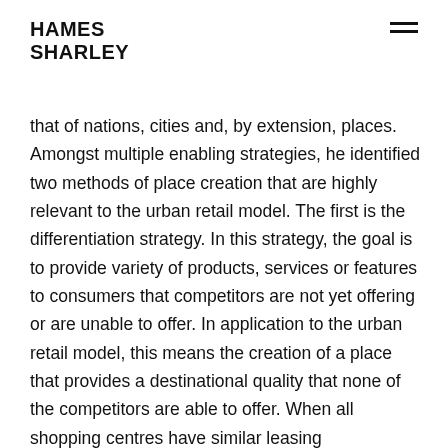Hames Sharley
that of nations, cities and, by extension, places. Amongst multiple enabling strategies, he identified two methods of place creation that are highly relevant to the urban retail model. The first is the differentiation strategy. In this strategy, the goal is to provide variety of products, services or features to consumers that competitors are not yet offering or are unable to offer. In application to the urban retail model, this means the creation of a place that provides a destinational quality that none of the competitors are able to offer. When all shopping centres have similar leasing opportunities, and are competing for the same internationals, this is the quality of the place that will both secure the leasing deal and draw the crowd. The aim is to create a destination that others can't offer and we have seen this manifest itself in the